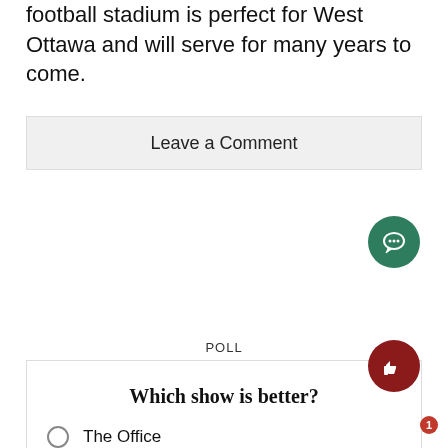football stadium is perfect for West Ottawa and will serve for many years to come.
Leave a Comment
POLL
Which show is better?
The Office